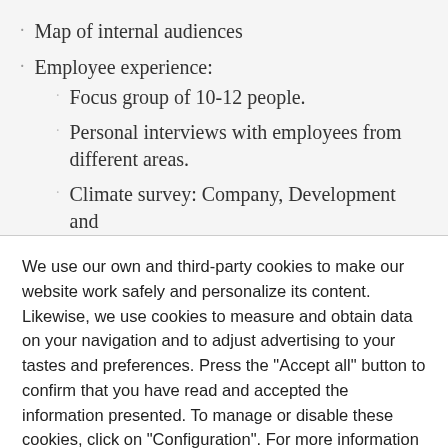Map of internal audiences
Employee experience:
Focus group of 10-12 people.
Personal interviews with employees from different areas.
Climate survey: Company, Development and
We use our own and third-party cookies to make our website work safely and personalize its content. Likewise, we use cookies to measure and obtain data on your navigation and to adjust advertising to your tastes and preferences. Press the "Accept all" button to confirm that you have read and accepted the information presented. To manage or disable these cookies, click on "Configuration". For more information see our cookies policy.
Configuration
Accept all